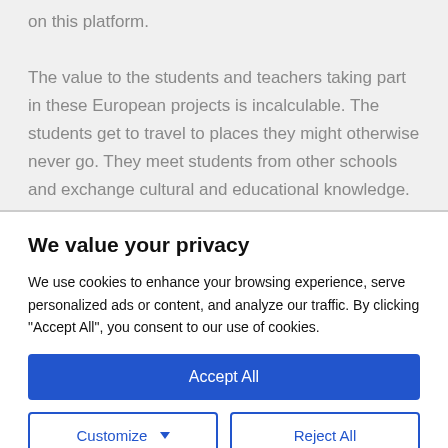on this platform.

The value to the students and teachers taking part in these European projects is incalculable. The students get to travel to places they might otherwise never go. They meet students from other schools and exchange cultural and educational knowledge. They improve their understanding of the
We value your privacy
We use cookies to enhance your browsing experience, serve personalized ads or content, and analyze our traffic. By clicking "Accept All", you consent to our use of cookies.